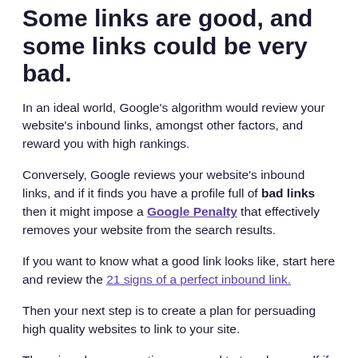Some links are good, and some links could be very bad.
In an ideal world, Google's algorithm would review your website's inbound links, amongst other factors, and reward you with high rankings.
Conversely, Google reviews your website's inbound links, and if it finds you have a profile full of bad links then it might impose a Google Penalty that effectively removes your website from the search results.
If you want to know what a good link looks like, start here and review the 21 signs of a perfect inbound link.
Then your next step is to create a plan for persuading high quality websites to link to your site.
There is only one question you need to to ask yourself if you want to know what makes a link bad.